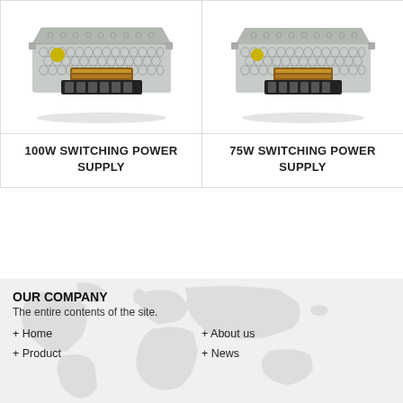[Figure (photo): 100W Switching Power Supply product photo — metal enclosure with green PCB and copper transformer coils]
100W SWITCHING POWER SUPPLY
[Figure (photo): 75W Switching Power Supply product photo — metal enclosure with green PCB and copper transformer coils]
75W SWITCHING POWER SUPPLY
OUR COMPANY
The entire contents of the site.
+ Home
+ About us
+ Product
+ News